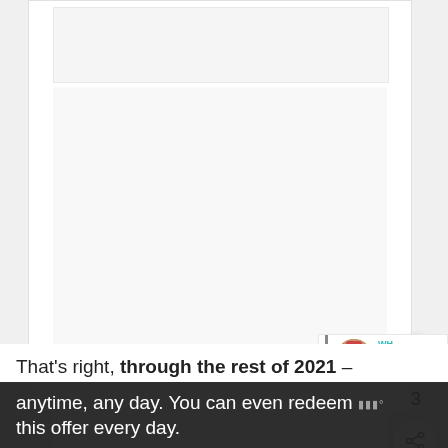[Figure (screenshot): Web page screenshot showing a white content card with a top image placeholder area (light gray), a large blank white/light gray content area, floating action buttons on the right side including a teal heart/like button, a count of 3, and a white share button. There is also a partial author snippet with an avatar and truncated text 'WH... Kr... Ge...' visible in the bottom right of the card.]
That’s right, through the rest of 2021 – anytime, any day. You can even redeem this offer every day.